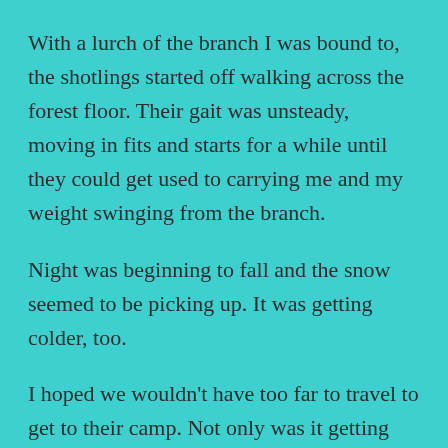With a lurch of the branch I was bound to, the shotlings started off walking across the forest floor.  Their gait was unsteady, moving in fits and starts for a while until they could get used to carrying me and my weight swinging from the branch.
Night was beginning to fall and the snow seemed to be picking up.  It was getting colder, too.
I hoped we wouldn't have too far to travel to get to their camp.  Not only was it getting colder, the swaying was making me uneasy.  And the ropes were awfully tight, biting and pinching into my skin, and my shoulders were beginning to ache from the awkward positioning of my arms.
It didn't help that I had to hold my head up–the ropes